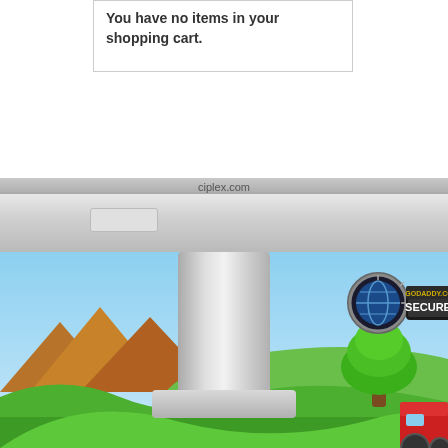You have no items in your shopping cart.
[Figure (illustration): Website screenshot showing an empty shopping cart message at top, a monitor stand/pillar in center, a GoDaddy Secured badge, and a cartoon outdoor scene with green hills, brown mountains, a green tree, and a partial red tractor at bottom right. The URL ciplex.com is shown on a gray bar.]